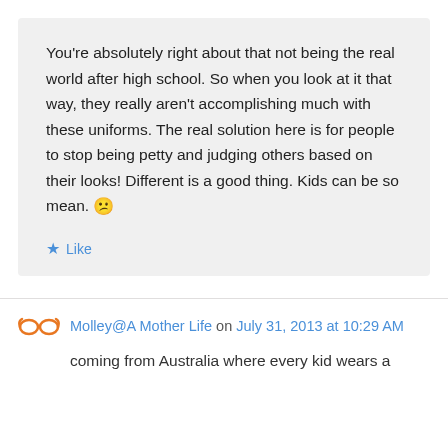You're absolutely right about that not being the real world after high school. So when you look at it that way, they really aren't accomplishing much with these uniforms. The real solution here is for people to stop being petty and judging others based on their looks! Different is a good thing. Kids can be so mean. 😕
Like
Molley@A Mother Life on July 31, 2013 at 10:29 AM
coming from Australia where every kid wears a